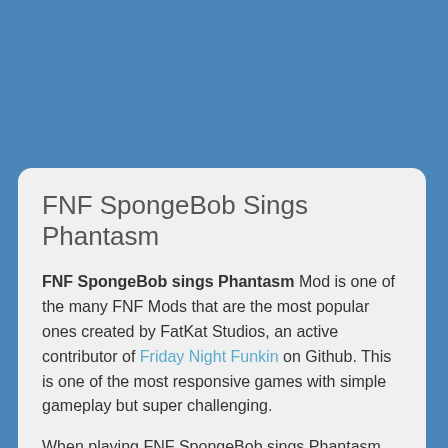[Figure (other): Blue header background area at the top of the page]
FNF SpongeBob Sings Phantasm
FNF SpongeBob sings Phantasm Mod is one of the many FNF Mods that are the most popular ones created by FatKat Studios, an active contributor of Friday Night Funkin on Github. This is one of the most responsive games with simple gameplay but super challenging.
When playing FNF SpongeBob sings Phantasm, you need to defeat the opponents to claim the heart of the Girlfriend and her father. But to get familiar with the difficulty, you need to practice with Mods with the...